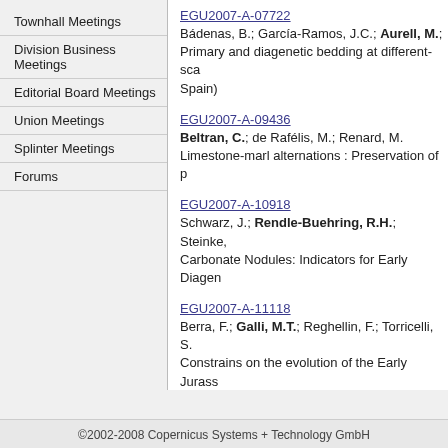Townhall Meetings
Division Business Meetings
Editorial Board Meetings
Union Meetings
Splinter Meetings
Forums
EGU2007-A-07722
Bádenas, B.; García-Ramos, J.C.; Aurell, M.; Primary and diagenetic bedding at different-scale Spain)
EGU2007-A-09436
Beltran, C.; de Rafélis, M.; Renard, M.
Limestone-marl alternations : Preservation of p
EGU2007-A-10918
Schwarz, J.; Rendle-Buehring, R.H.; Steinke,
Carbonate Nodules: Indicators for Early Diagen
EGU2007-A-11118
Berra, F.; Galli, M.T.; Reghellin, F.; Torricelli, S.
Constrains on the evolution of the Early Jurass the sedimentary succession of the Biellese are
Back to Session Programme
©2002-2008 Copernicus Systems + Technology GmbH